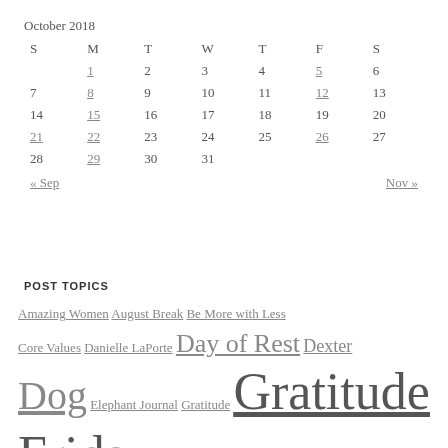| S | M | T | W | T | F | S |
| --- | --- | --- | --- | --- | --- | --- |
|  | 1 | 2 | 3 | 4 | 5 | 6 |
| 7 | 8 | 9 | 10 | 11 | 12 | 13 |
| 14 | 15 | 16 | 17 | 18 | 19 | 20 |
| 21 | 22 | 23 | 24 | 25 | 26 | 27 |
| 28 | 29 | 30 | 31 |  |  |  |
POST TOPICS
Amazing Women  August Break  Be More with Less  Core Values  Danielle LaPorte  Day of Rest  Dexter  Dog  Elephant Journal  Gratitude  Gratitude Friday  Jamie Ridler  Love  Marc and Angel Hack Life  Meditation  Pema Chödrön  Practice  Quote  Rachel W. Cole  Sam  Seth Godin  Small Stone